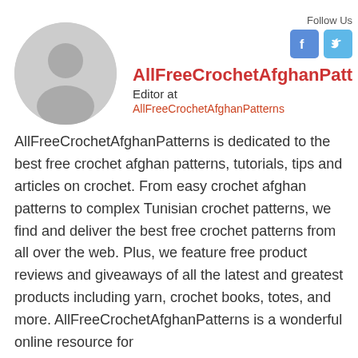[Figure (photo): Gray circular avatar placeholder with a silhouette icon of a person]
Follow Us
AllFreeCrochetAfghanPatt
Editor at
AllFreeCrochetAfghanPatterns
AllFreeCrochetAfghanPatterns is dedicated to the best free crochet afghan patterns, tutorials, tips and articles on crochet. From easy crochet afghan patterns to complex Tunisian crochet patterns, we find and deliver the best free crochet patterns from all over the web. Plus, we feature free product reviews and giveaways of all the latest and greatest products including yarn, crochet books, totes, and more. AllFreeCrochetAfghanPatterns is a wonderful online resource for